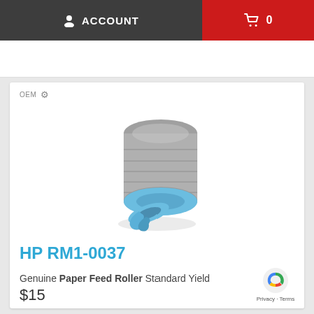ACCOUNT   0
[Figure (photo): HP RM1-0037 paper feed roller component — a cylindrical gray rubber roller with a blue plastic mount/clip at the bottom]
OEM ⚙
HP RM1-0037
Genuine Paper Feed Roller Standard Yield
$15